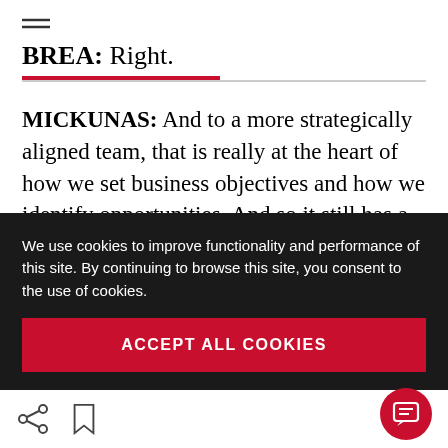BREA: Right.
MICKUNAS: And to a more strategically aligned team, that is really at the heart of how we set business objectives and how we identify opportunities. And so it still has a ways to go. I think what's interesting is in CPG, at least more US-based CPG, I think there's a range of, if you
We use cookies to improve functionality and performance of this site. By continuing to browse this site, you consent to the use of cookies.
ACCEPT ALL COOKIES